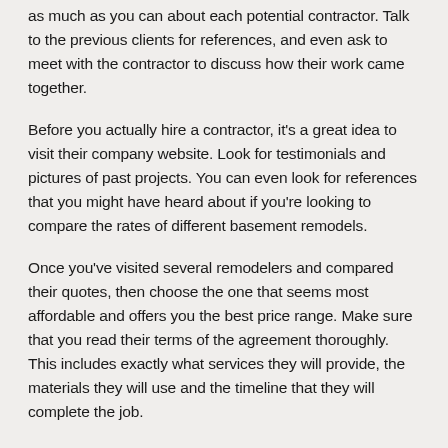as much as you can about each potential contractor. Talk to the previous clients for references, and even ask to meet with the contractor to discuss how their work came together.
Before you actually hire a contractor, it's a great idea to visit their company website. Look for testimonials and pictures of past projects. You can even look for references that you might have heard about if you're looking to compare the rates of different basement remodels.
Once you've visited several remodelers and compared their quotes, then choose the one that seems most affordable and offers you the best price range. Make sure that you read their terms of the agreement thoroughly. This includes exactly what services they will provide, the materials they will use and the timeline that they will complete the job.